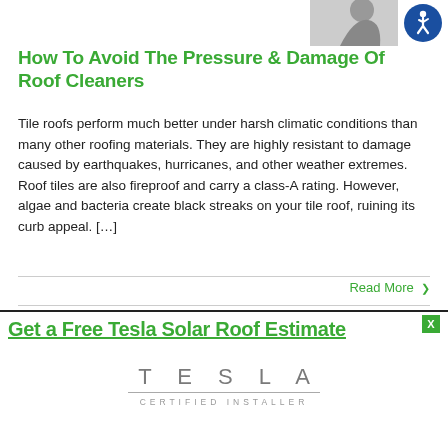[Figure (photo): Grayscale photo of a person's torso/upper body in the top right area of the page]
[Figure (illustration): Blue circular accessibility icon (wheelchair person symbol) in the top right corner]
How To Avoid The Pressure & Damage Of Roof Cleaners
Tile roofs perform much better under harsh climatic conditions than many other roofing materials. They are highly resistant to damage caused by earthquakes, hurricanes, and other weather extremes. Roof tiles are also fireproof and carry a class-A rating. However, algae and bacteria create black streaks on your tile roof, ruining its curb appeal. [...]
Read More >
Get a Free Tesla Solar Roof Estimate
[Figure (logo): Tesla Certified Installer logo with Tesla wordmark and 'CERTIFIED INSTALLER' text beneath]